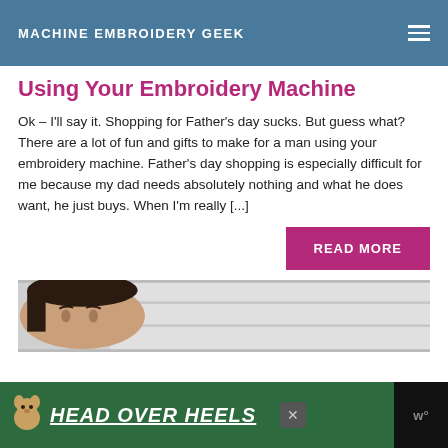MACHINE EMBROIDERY GEEK
Using Your Embroidery Machine
Ok – I'll say it. Shopping for Father's day sucks. But guess what? There are a lot of fun and gifts to make for a man using your embroidery machine. Father's day shopping is especially difficult for me because my dad needs absolutely nothing and what he does want, he just buys. When I'm really [...]
READ MORE
[Figure (photo): Partial photo of a person's face/head, appearing to be a young woman, with a bright/light background suggesting indoor setting]
[Figure (advertisement): Advertisement banner with dark background, green section showing a dog icon and text 'HEAD OVER HEELS' in white underlined italic font, with a close button and logo on the right]